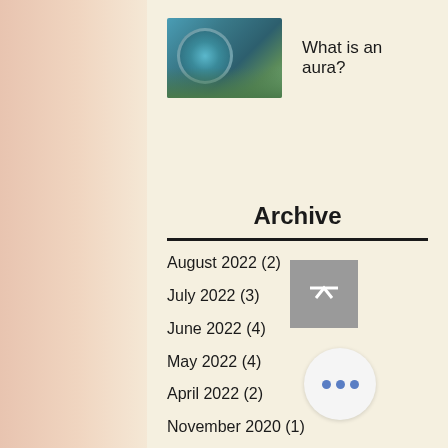[Figure (photo): Thumbnail image showing an eye or orb with nature/water reflection, used as blog post thumbnail for 'What is an aura?']
What is an aura?
Archive
August 2022 (2)
July 2022 (3)
June 2022 (4)
May 2022 (4)
April 2022 (2)
November 2020 (1)